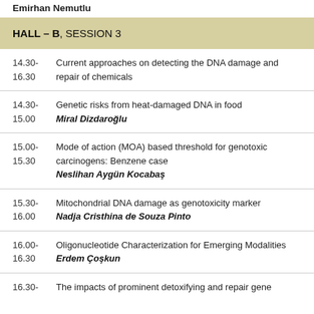Emirhan Nemutlu
HALL – B, SESSION 3
14.30-16.30 | Current approaches on detecting the DNA damage and repair of chemicals
14.30-15.00 | Genetic risks from heat-damaged DNA in food | Miral Dizdaroğlu
15.00-15.30 | Mode of action (MOA) based threshold for genotoxic carcinogens: Benzene case | Neslihan Aygün Kocabaş
15.30-16.00 | Mitochondrial DNA damage as genotoxicity marker | Nadja Cristhina de Souza Pinto
16.00-16.30 | Oligonucleotide Characterization for Emerging Modalities | Erdem Çoşkun
16.30- | The impacts of prominent detoxifying and repair gene